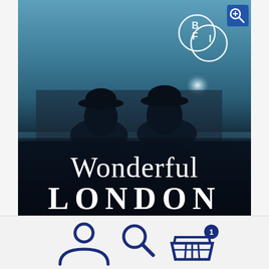[Figure (photo): Book or DVD cover for 'Wonderful London' — BFI release. Dark blue-tinted photograph showing two figures in dark coats and hats seen from behind, leaning against a railing, facing each other. BFI logo (two overlapping circles with B, F, I letters) visible top right. A zoom/magnify button icon in the top-right corner. Title text 'Wonderful London' overlaid in white serif/decorative font on dark background at the bottom of the image.]
Wonderful LONDON
[Figure (screenshot): Mobile app navigation bar at bottom with three icons: person/user icon (left), search/magnifying glass icon (center), shopping basket/cart icon with badge showing '1' (right). All icons in dark navy blue on light grey background.]